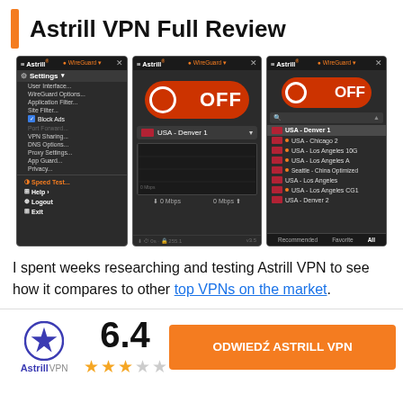Astrill VPN Full Review
[Figure (screenshot): Three side-by-side screenshots of the Astrill VPN desktop application showing: (1) settings menu with options like User Interface, WireGuard Options, Block Ads, Speed Test, Help, Logout, Exit; (2) main OFF toggle screen showing USA - Denver 1 and 0 Mbps speed; (3) server list showing USA - Denver 1, USA - Chicago 2, USA - Los Angeles 10G, USA - Los Angeles A, Seattle - China Optimized, USA - Los Angeles, USA - Los Angeles CG1, USA - Denver 2]
I spent weeks researching and testing Astrill VPN to see how it compares to other top VPNs on the market.
[Figure (logo): Astrill VPN logo with blue star icon]
6.4 with 3 out of 5 stars rating
ODWIEDŹ ASTRILL VPN